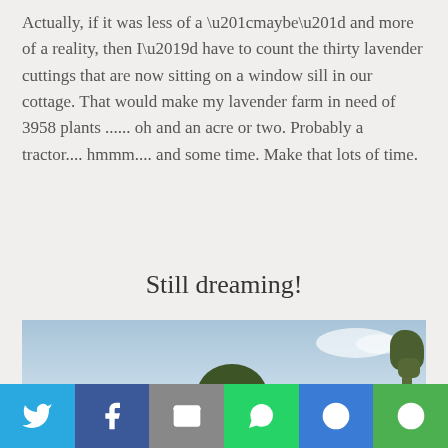Actually, if it was less of a “maybe” and more of a reality, then I’d have to count the thirty lavender cuttings that are now sitting on a window sill in our cottage. That would make my lavender farm in need of 3958 plants ...... oh and an acre or two. Probably a tractor.... hmmm.... and some time. Make that lots of time.
Still dreaming!
[Figure (photo): Outdoor countryside photo showing a blue sky with light clouds, green hedgerow and trees in the middle distance, with a strip of purple lavender visible at the bottom of the image.]
Social share bar: Twitter, Facebook, Email, WhatsApp, SMS, More